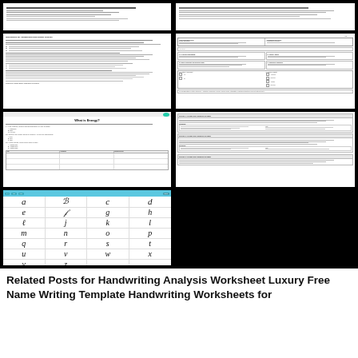[Figure (screenshot): Thumbnail of a document page with dense text, appears to be a worksheet or assignment]
[Figure (screenshot): Thumbnail of a handwritten or cursive text document page]
[Figure (screenshot): Thumbnail of a worksheet document with text, bullet points, and sections]
[Figure (screenshot): Thumbnail of a form or assessment document with sections and checkboxes]
[Figure (screenshot): Thumbnail of a 'What is Energy?' worksheet with questions and a table]
[Figure (screenshot): Thumbnail of a multi-section document with labeled sections and text blocks]
[Figure (screenshot): Screenshot of a handwriting app showing cursive alphabet letters a through z in a grid layout]
Related Posts for Handwriting Analysis Worksheet Luxury Free Name Writing Template Handwriting Worksheets for